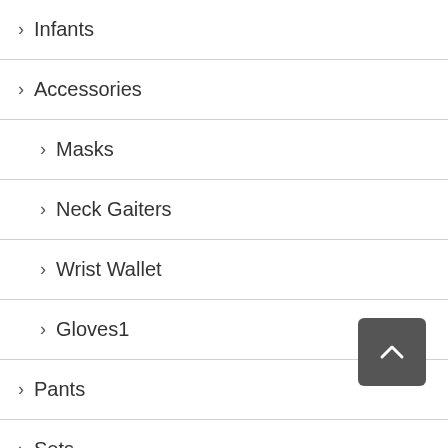> Infants
> Accessories
> Masks
> Neck Gaiters
> Wrist Wallet
> Gloves1
> Pants
> Sets
> Tops